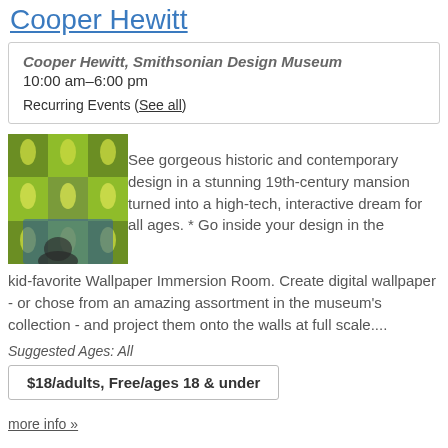Cooper Hewitt
Cooper Hewitt, Smithsonian Design Museum
10:00 am–6:00 pm

Recurring Events (See all)
[Figure (photo): Photo of a person interacting with a digital display showing colorful patterned wallpaper designs at the Cooper Hewitt museum.]
See gorgeous historic and contemporary design in a stunning 19th-century mansion turned into a high-tech, interactive dream for all ages. * Go inside your design in the kid-favorite Wallpaper Immersion Room. Create digital wallpaper  - or chose from an amazing assortment in the museum's collection - and project them onto the walls at full scale....
Suggested Ages: All
$18/adults, Free/ages 18 & under
more info »